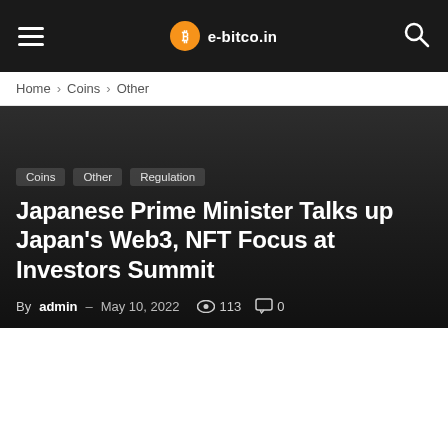e-bitco.in — hamburger menu, logo, search icon
Home › Coins › Other
[Figure (screenshot): Dark hero image background area with category tags and article title overlaid]
Coins
Other
Regulation
Japanese Prime Minister Talks up Japan's Web3, NFT Focus at Investors Summit
By admin – May 10, 2022  113  0